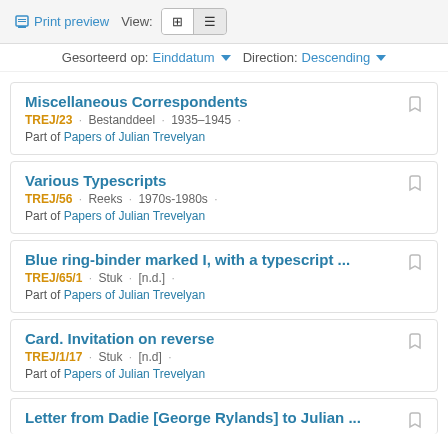Print preview  View:  Gesorteerd op: Einddatum ▼  Direction: Descending ▼
Miscellaneous Correspondents
TREJ/23 · Bestanddeel · 1935–1945 ·
Part of Papers of Julian Trevelyan
Various Typescripts
TREJ/56 · Reeks · 1970s-1980s ·
Part of Papers of Julian Trevelyan
Blue ring-binder marked I, with a typescript ...
TREJ/65/1 · Stuk · [n.d.] ·
Part of Papers of Julian Trevelyan
Card. Invitation on reverse
TREJ/1/17 · Stuk · [n.d] ·
Part of Papers of Julian Trevelyan
Letter from Dadie [George Rylands] to Julian ...